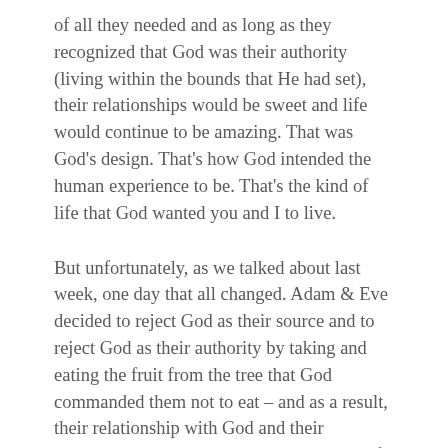of all they needed and as long as they recognized that God was their authority (living within the bounds that He had set), their relationships would be sweet and life would continue to be amazing. That was God's design. That's how God intended the human experience to be. That's the kind of life that God wanted you and I to live.
But unfortunately, as we talked about last week, one day that all changed. Adam & Eve decided to reject God as their source and to reject God as their authority by taking and eating the fruit from the tree that God commanded them not to eat – and as a result, their relationship with God and their relationship with each other was broken. Life would become very painful and hard for Adam and Eve, and all of Creation would suffer.
In fact, to this very day, we suffer the effects of sin